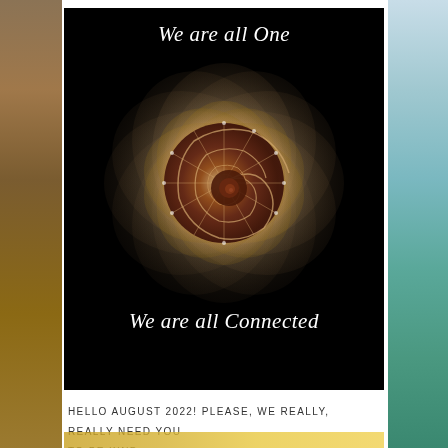[Figure (illustration): Black background poster with spiral nautilus shell in gold/brown tones, with text 'We are all One' at top and 'We are all Connected' at bottom in white italic serif font]
HELLO AUGUST 2022! PLEASE, WE REALLY, REALLY NEED YOU TO BE KIND ...
[Figure (photo): Partial view of a yellow/orange flower at the bottom of the page]